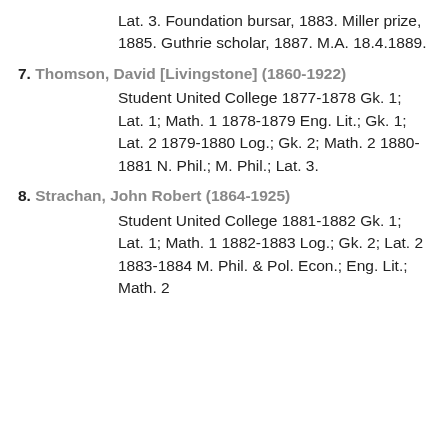Lat. 3. Foundation bursar, 1883. Miller prize, 1885. Guthrie scholar, 1887. M.A. 18.4.1889.
7. Thomson, David [Livingstone] (1860-1922)
Student United College 1877-1878 Gk. 1; Lat. 1; Math. 1 1878-1879 Eng. Lit.; Gk. 1; Lat. 2 1879-1880 Log.; Gk. 2; Math. 2 1880-1881 N. Phil.; M. Phil.; Lat. 3.
8. Strachan, John Robert (1864-1925)
Student United College 1881-1882 Gk. 1; Lat. 1; Math. 1 1882-1883 Log.; Gk. 2; Lat. 2 1883-1884 M. Phil. & Pol. Econ.; Eng. Lit.; Math. 2